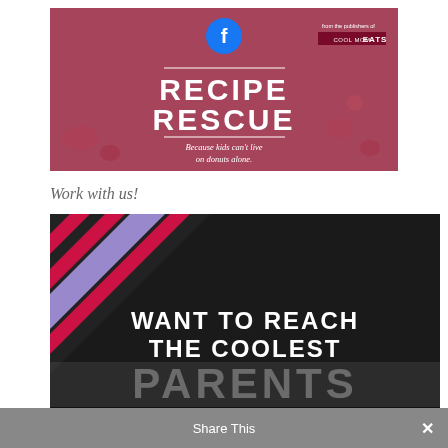[Figure (infographic): Recipe Rescue Facebook group banner with pink/mauve background showing children, Facebook logo icon, 'from the publishers of COOL MOM EATS' badge, text 'RECIPE RESCUE' in large bold white letters, tagline 'Because kids can't live on donuts alone.']
Work with us!
[Figure (infographic): Dark banner advertisement reading 'WANT TO REACH THE COOLEST PARENTS ANYWHERE?' with diagonal red and purple stripe design elements on the left side, white bold text on black background, and semi-transparent 'PARENTS' text in lighter style]
Share This